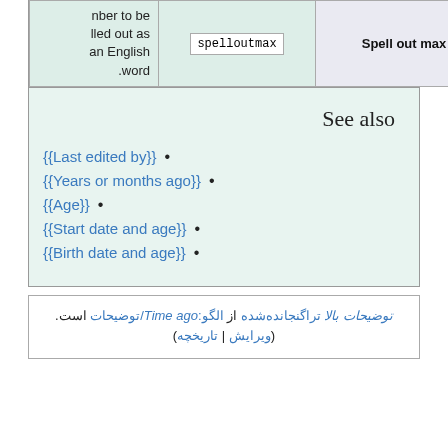| Description | Parameter | Label |
| --- | --- | --- |
| nber to be lled out as an English .word | spelloutmax | Spell out max |
See also
{{Last edited by}}
{{Years or months ago}}
{{Age}}
{{Start date and age}}
{{Birth date and age}}
توضیحات بالا تراگنجانده‌شده از الگو:Time ago/توضیحات است. (ویرایش | تاریخچه)